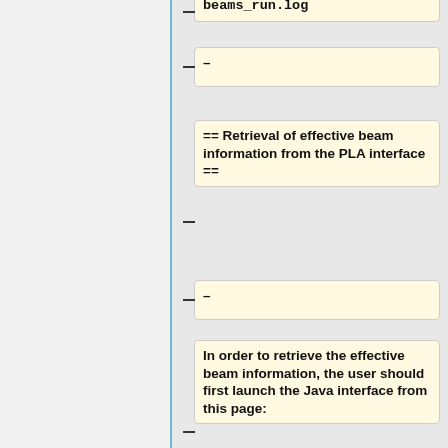beams_run.log
–
== Retrieval of effective beam information from the PLA interface ==
–
In order to retrieve the effective beam information, the user should first launch the Java interface from this page:
http://www.sciops.esa.int/index.php?project=planc...